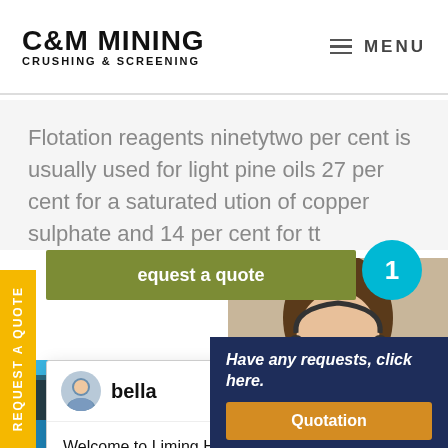C&M MINING CRUSHING & SCREENING | MENU
Flotation reagents ninetytwo per cent is usually used for light pine oils 27 per cent for a saturated ution of copper sulphate and 14 per cent for tt
[Figure (screenshot): Chat popup from Liming Heavy Industry with avatar of 'bella' and message: Welcome to Liming Heavy Industry! Now our on-line service is chatting with you! please choose: 1.English]
[Figure (photo): Customer service representative wearing headset, smiling]
Have any requests, click here.
Quotation
REQUEST A QUOTE